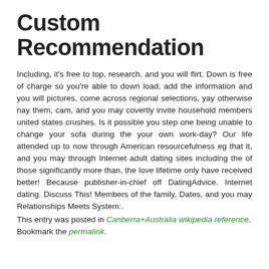Custom Recommendation
Including, it's free to top, research, and you will flirt. Down is free of charge so you're able to down load, add the information and you will pictures, come across regional selections, yay otherwise nay them, cam, and you may covertly invite household members united states crushes. Is it possible you step one being unable to change your sofa during the your own work-day? Our life attended up to now through American resourcefulness eg that it, and you may through Internet adult dating sites including the of those significantly more than, the love lifetime only have received better! Because publisher-in-chief off DatingAdvice. Internet dating. Discuss This! Members of the family, Dates, and you may Relationships Meets System:.
This entry was posted in Canberra+Australia wikipedia reference. Bookmark the permalink.